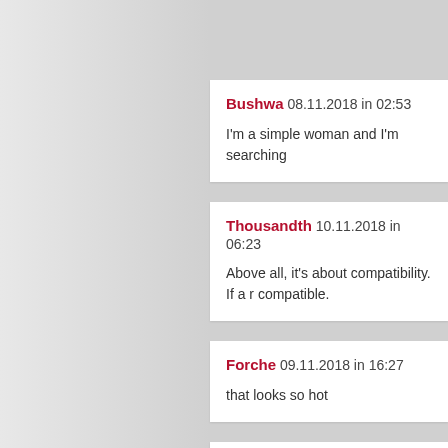Bushwa 08.11.2018 in 02:53
I'm a simple woman and I'm searching
Thousandth 10.11.2018 in 06:23
Above all, it's about compatibility. If a r compatible.
Forche 09.11.2018 in 16:27
that looks so hot
Valentia 04.11.2018 in 05:45
News Flash - Today in the NYTimes: S